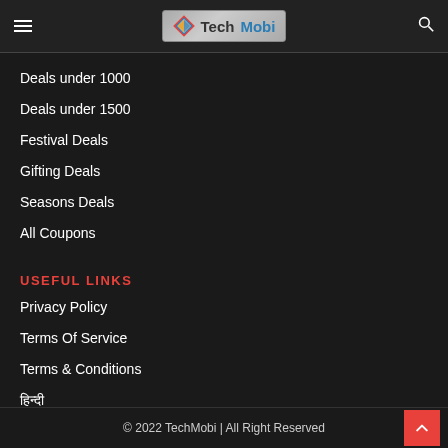TechMobi
Deals under 1000
Deals under 1500
Festival Deals
Gifting Deals
Seasons Deals
All Coupons
USEFUL LINKS
Privacy Policy
Terms Of Service
Terms & Conditions
हिन्दी
© 2022 TechMobi | All Right Reserved